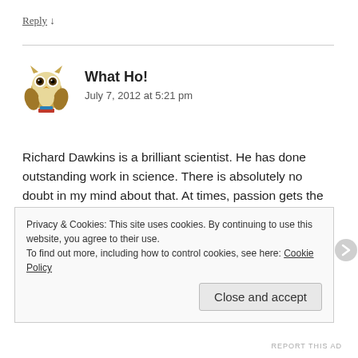Reply ↓
[Figure (illustration): Owl avatar/icon for commenter 'What Ho!']
What Ho!
July 7, 2012 at 5:21 pm
Richard Dawkins is a brilliant scientist. He has done outstanding work in science. There is absolutely no doubt in my mind about that. At times, passion gets the better of us and we tend to begin preaching and dictating gospel to others. Dawkins has fallen prey to the “I am this mighty scientist. I’ve seen it all. I know more than you do” syndrome.
Privacy & Cookies: This site uses cookies. By continuing to use this website, you agree to their use.
To find out more, including how to control cookies, see here: Cookie Policy
Close and accept